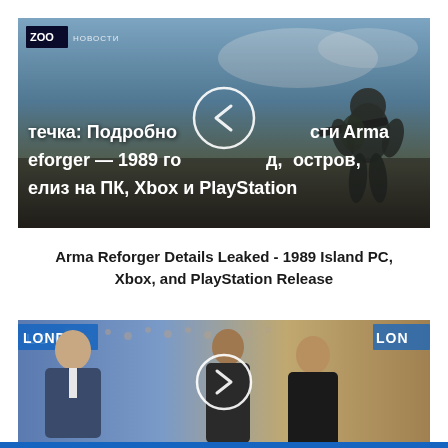[Figure (screenshot): Video thumbnail showing military game scene (Arma Reforger) with Russian text overlay and navigation arrow circle. Channel badge shows 'ZOO НОВОСТИ' in top left.]
Arma Reforger Details Leaked - 1989 Island PC, Xbox, and PlayStation Release
[Figure (screenshot): Video thumbnail showing a crowd/stadium scene with people in foreground, London signage visible, and a circular play button overlay.]